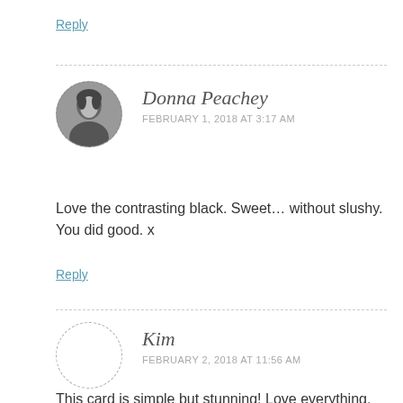Reply
Donna Peachey
FEBRUARY 1, 2018 AT 3:17 AM
Love the contrasting black. Sweet… without slushy. You did good. x
Reply
Kim
FEBRUARY 2, 2018 AT 11:56 AM
This card is simple but stunning! Love everything. Thanks